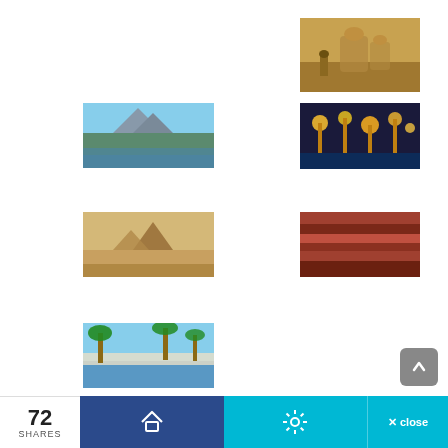[Figure (photo): Desert scene with camels, top right]
[Figure (photo): Mountain and city waterfront (Cape Town style), left middle-upper]
[Figure (photo): Golden lanterns or pagodas at night, right middle-upper]
[Figure (photo): Desert rock formation landscape, left middle]
[Figure (photo): Red canyon rock striations, right middle]
[Figure (photo): Pool and palm trees resort, left lower]
72
SHARES
× close